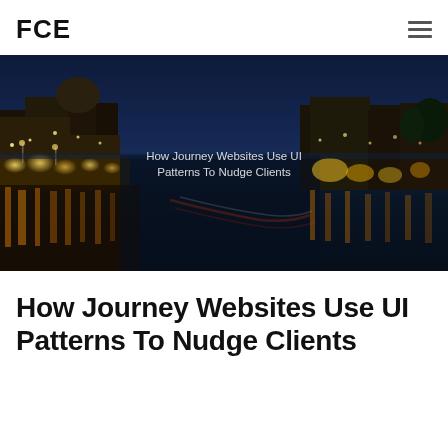FCE
[Figure (photo): Night photograph of the Grand Canal in Venice, Italy. Illuminated historic buildings line both sides of the canal. Golden reflections of lights shimmer on the water. A large domed church (Santa Maria della Salute) is visible on the left. Overlay text reads: How Journey Websites Use UI Patterns To Nudge Clients]
How Journey Websites Use UI Patterns To Nudge Clients